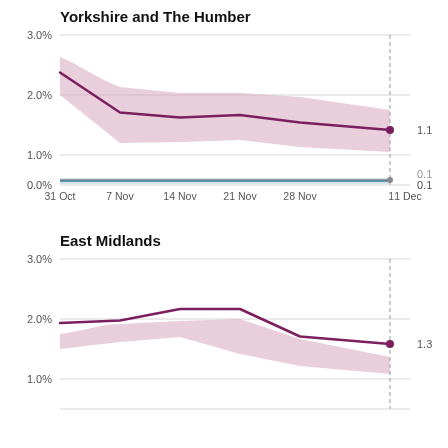[Figure (line-chart): Yorkshire and The Humber]
[Figure (line-chart): East Midlands]